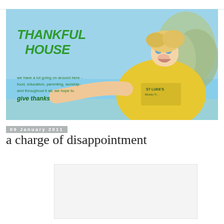[Figure (photo): Blog header banner showing a smiling young blonde child in a yellow St Luke's t-shirt reaching toward the camera against a blue sky background, with green text reading 'THANKFUL HOUSE' and smaller text 'we have a lot going on around here - food, education, parenting, worship - and throughout it all, we hope to give thanks']
09 January 2011
a charge of disappointment
[Figure (photo): Partially visible image placeholder at bottom of page]